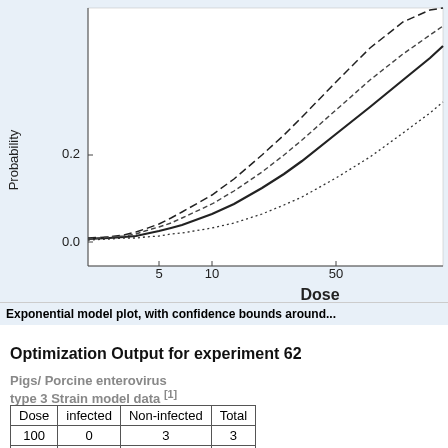[Figure (continuous-plot): Exponential model dose-response plot showing probability of infection (y-axis, 0.0 to above 0.2) vs Dose (x-axis, log scale: 5, 10, 50). Solid curve is the model fit, with dashed and dotted curves as confidence bounds above and below.]
Exponential model plot, with confidence bounds around...
Optimization Output for experiment 62
Pigs/ Porcine enterovirus type 3 Strain model data [1]
| Dose | infected | Non-infected | Total |
| --- | --- | --- | --- |
| 100 | 0 | 3 | 3 |
| 250 | 0 | 6 | 6 |